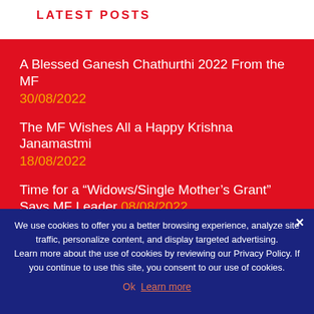LATEST POSTS
A Blessed Ganesh Chathurthi 2022 From the MF 30/08/2022
The MF Wishes All a Happy Krishna Janamastmi 18/08/2022
Time for a “Widows/Single Mother’s Grant” Says MF Leader 08/08/2022
MF Leader Empowers Body Corporates 25/07/2022
MF Supports Ubuntu Youth Program 25/07/2022
We use cookies to offer you a better browsing experience, analyze site traffic, personalize content, and display targeted advertising. Learn more about the use of cookies by reviewing our Privacy Policy. If you continue to use this site, you consent to our use of cookies. Ok Learn more